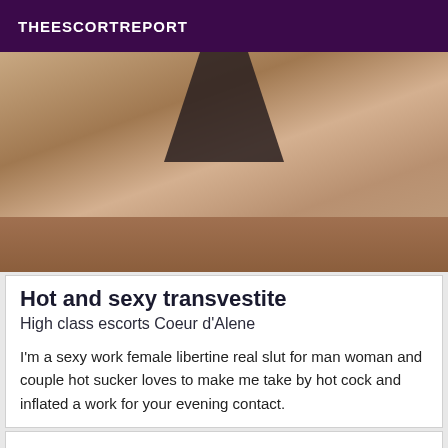THEESCORTREPORT
[Figure (photo): A close-up photo showing a person in dark lingerie/clothing bending over on a wooden floor in a room]
Hot and sexy transvestite
High class escorts Coeur d'Alene
I'm a sexy work female libertine real slut for man woman and couple hot sucker loves to make me take by hot cock and inflated a work for your evening contact.